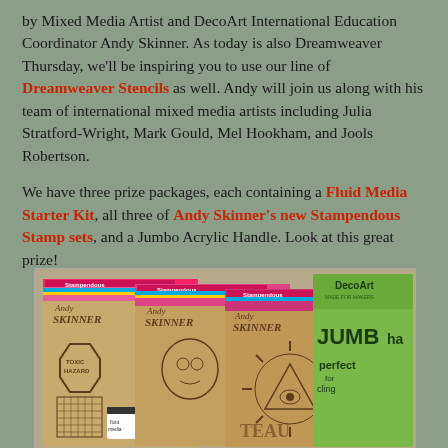by Mixed Media Artist and DecoArt International Education Coordinator Andy Skinner. As today is also Dreamweaver Thursday, we'll be inspiring you to use our line of Dreamweaver Stencils as well. Andy will join us along with his team of international mixed media artists including Julia Stratford-Wright, Mark Gould, Mel Hookham, and Jools Robertson.
We have three prize packages, each containing a Fluid Media Starter Kit, all three of Andy Skinner's new Stampendous Stamp sets, and a Jumbo Acrylic Handle. Look at this great prize!
[Figure (photo): Photo of prize package including Andy Skinner Stampendous stamp sets displayed on brown kraft paper packaging, and a DecoArt Jumbo Acrylic Handle in green packaging. Colorful Stampendous branded header strips visible. Products include Toxic Hazard stamp and illuminati-style sun stamp.]